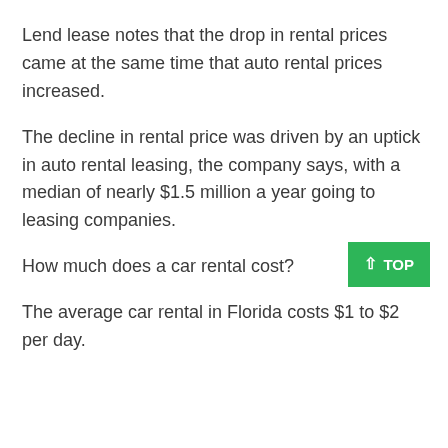Lend lease notes that the drop in rental prices came at the same time that auto rental prices increased.
The decline in rental price was driven by an uptick in auto rental leasing, the company says, with a median of nearly $1.5 million a year going to leasing companies.
How much does a car rental cost?
The average car rental in Florida costs $1 to $2 per day.